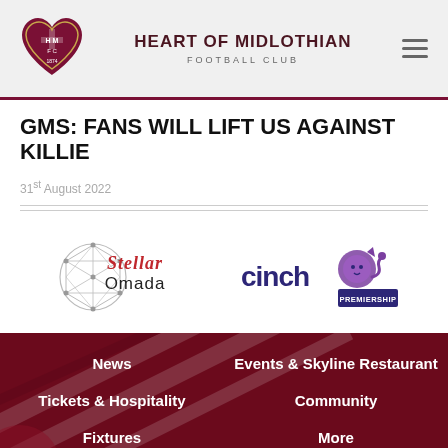HEART OF MIDLOTHIAN FOOTBALL CLUB
GMS: FANS WILL LIFT US AGAINST KILLIE
31st August 2022
[Figure (logo): Stellar Omada sponsor logo — geometric sphere wireframe next to Stellar Omada script text]
[Figure (logo): cinch Premiership logo — cinch text with lion graphic and PREMIERSHIP badge]
News | Events & Skyline Restaurant | Tickets & Hospitality | Community | Fixtures | More